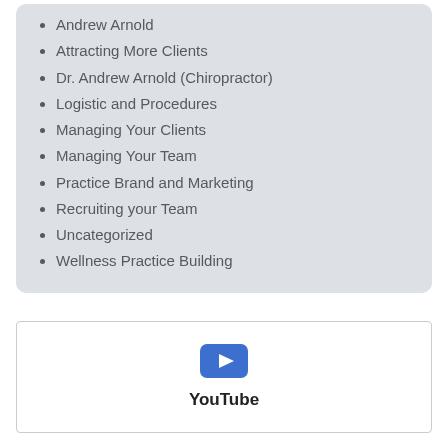Andrew Arnold
Attracting More Clients
Dr. Andrew Arnold (Chiropractor)
Logistic and Procedures
Managing Your Clients
Managing Your Team
Practice Brand and Marketing
Recruiting your Team
Uncategorized
Wellness Practice Building
[Figure (other): YouTube embedded video placeholder with blue play button icon and text 'YouTube']